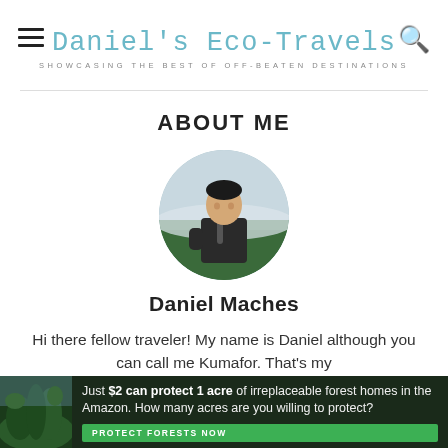Daniel's Eco-Travels — SHOWCASING THE BEST OF OFF-BEATEN DESTINATIONS
ABOUT ME
[Figure (photo): Circular profile photo of Daniel Maches, a man wearing a dark jacket with a backpack, standing in a misty mountainous forested area.]
Daniel Maches
Hi there fellow traveler! My name is Daniel although you can call me Kumafor. That's my
[Figure (infographic): Advertisement banner: dark green background with forest image on left. Text reads 'Just $2 can protect 1 acre of irreplaceable forest homes in the Amazon. How many acres are you willing to protect?' with a green 'PROTECT FORESTS NOW' button.]